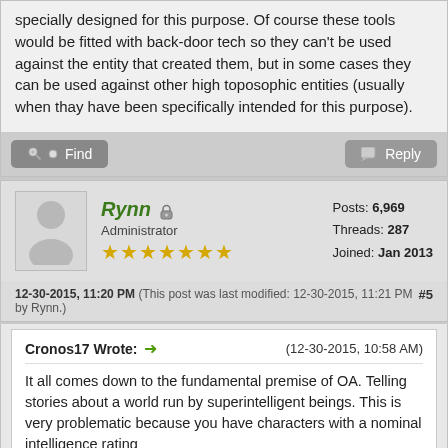specially designed for this purpose. Of course these tools would be fitted with back-door tech so they can't be used against the entity that created them, but in some cases they can be used against other high toposophic entities (usually when thay have been specifically intended for this purpose).
Find   Reply
Rynn Administrator ★★★★★★★
Posts: 6,969 Threads: 287 Joined: Jan 2013
12-30-2015, 11:20 PM (This post was last modified: 12-30-2015, 11:21 PM by Rynn.) #5
Cronos17 Wrote: → (12-30-2015, 10:58 AM)
It all comes down to the fundamental premise of OA. Telling stories about a world run by superintelligent beings. This is very problematic because you have characters with a nominal intelligence rating